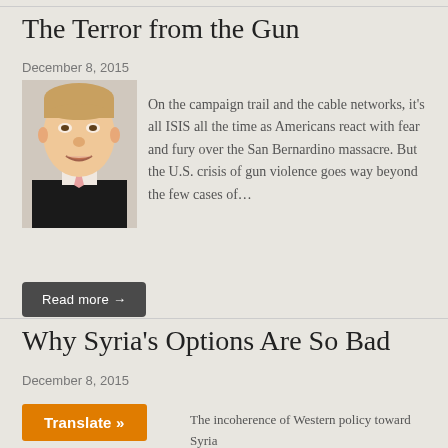The Terror from the Gun
December 8, 2015
[Figure (photo): Headshot photo of a man in a suit]
On the campaign trail and the cable networks, it’s all ISIS all the time as Americans react with fear and fury over the San Bernardino massacre. But the U.S. crisis of gun violence goes way beyond the few cases of…
Read more →
Why Syria’s Options Are So Bad
December 8, 2015
Translate »
The incoherence of Western policy toward Syria